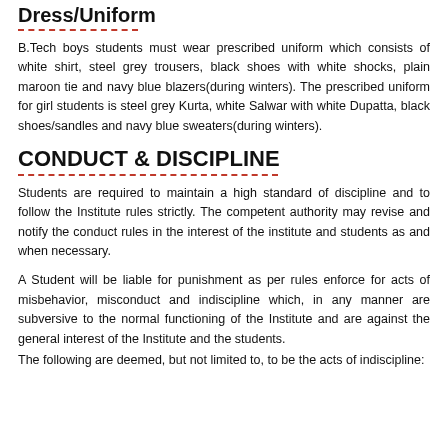Dress/Uniform
B.Tech boys students must wear prescribed uniform which consists of white shirt, steel grey trousers, black shoes with white shocks, plain maroon tie and navy blue blazers(during winters). The prescribed uniform for girl students is steel grey Kurta, white Salwar with white Dupatta, black shoes/sandles and navy blue sweaters(during winters).
CONDUCT & DISCIPLINE
Students are required to maintain a high standard of discipline and to follow the Institute rules strictly. The competent authority may revise and notify the conduct rules in the interest of the institute and students as and when necessary.
A Student will be liable for punishment as per rules enforce for acts of misbehavior, misconduct and indiscipline which, in any manner are subversive to the normal functioning of the Institute and are against the general interest of the Institute and the students.
The following are deemed, but not limited to, to be the acts of indiscipline: